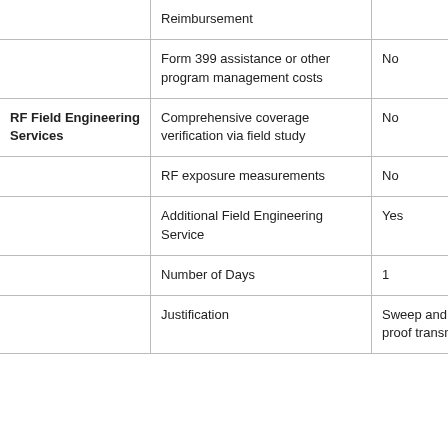|  | Reimbursement |  |
|  | Form 399 assistance or other program management costs | No |
| RF Field Engineering Services | Comprehensive coverage verification via field study | No |
|  | RF exposure measurements | No |
|  | Additional Field Engineering Service | Yes |
|  | Number of Days | 1 |
|  | Justification | Sweep and retune / proof transmitter |